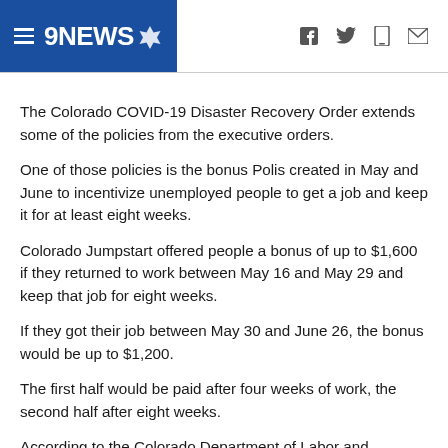9NEWS
The Colorado COVID-19 Disaster Recovery Order extends some of the policies from the executive orders.
One of those policies is the bonus Polis created in May and June to incentivize unemployed people to get a job and keep it for at least eight weeks.
Colorado Jumpstart offered people a bonus of up to $1,600 if they returned to work between May 16 and May 29 and keep that job for eight weeks.
If they got their job between May 30 and June 26, the bonus would be up to $1,200.
The first half would be paid after four weeks of work, the second half after eight weeks.
According to the Colorado Department of Labor and Employment, 48,000 people...